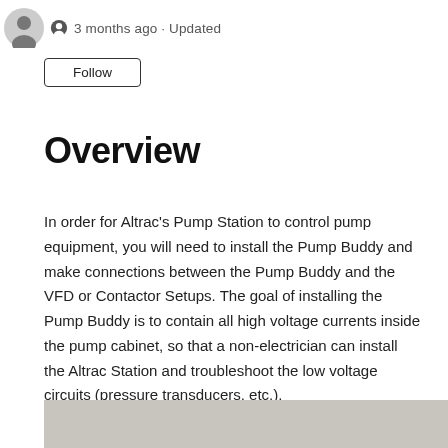3 months ago · Updated
Follow
Overview
In order for Altrac's Pump Station to control pump equipment, you will need to install the Pump Buddy and make connections between the Pump Buddy and the VFD or Contactor Setups. The goal of installing the Pump Buddy is to contain all high voltage currents inside the pump cabinet, so that a non-electrician can install the Altrac Station and troubleshoot the low voltage circuits (pressure transducers, etc.).
[Figure (photo): Bottom portion of a photograph showing a metallic/grey panel or enclosure surface]